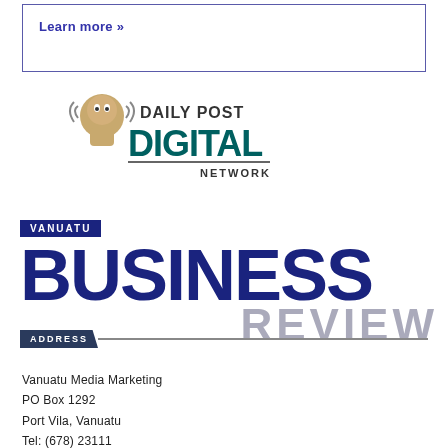Learn more »
[Figure (logo): Daily Post Digital Network logo with mascot character]
[Figure (logo): Vanuatu Business Review logo with dark blue BUSINESS and grey REVIEW text]
ADDRESS
Vanuatu Media Marketing
PO Box 1292
Port Vila, Vanuatu
Tel: (678) 23111